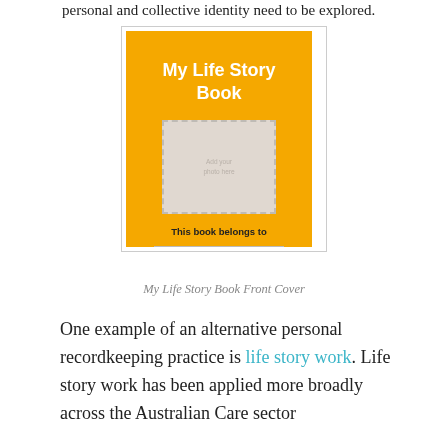personal and collective identity need to be explored.
[Figure (illustration): Front cover of 'My Life Story Book' – an orange/yellow book cover with white bold title text 'My Life Story Book', a light grey dashed-border photo placeholder rectangle in the center, and text 'This book belongs to' below the placeholder.]
My Life Story Book Front Cover
One example of an alternative personal recordkeeping practice is life story work. Life story work has been applied more broadly across the Australian Care sector